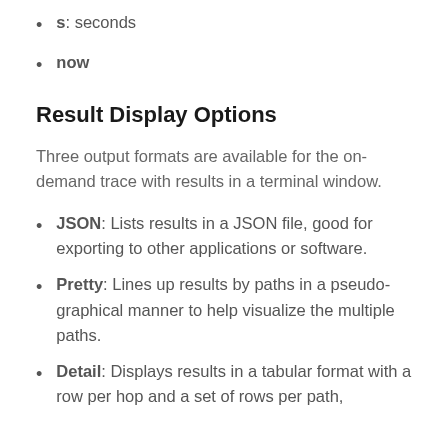s: seconds
now
Result Display Options
Three output formats are available for the on-demand trace with results in a terminal window.
JSON: Lists results in a JSON file, good for exporting to other applications or software.
Pretty: Lines up results by paths in a pseudo-graphical manner to help visualize the multiple paths.
Detail: Displays results in a tabular format with a row per hop and a set of rows per path,